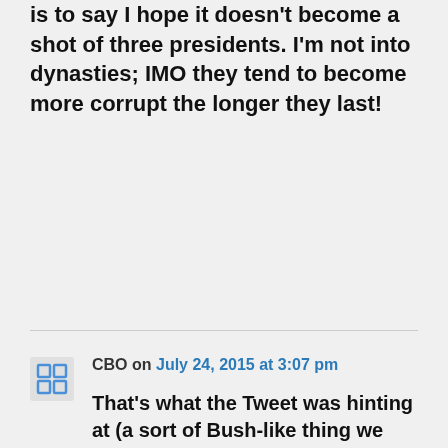is to say I hope it doesn't become a shot of three presidents. I'm not into dynasties; IMO they tend to become more corrupt the longer they last!
CBO on July 24, 2015 at 3:07 pm
That's what the Tweet was hinting at (a sort of Bush-like thing we have over here). Which doesn't sit any better with Kenyans than having a third Bush as president sits